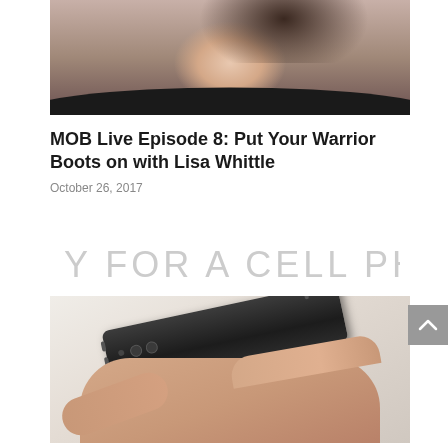[Figure (photo): Cropped photo of a woman with dark wavy hair smiling, wearing a dark top, shown from shoulders/neck up]
MOB Live Episode 8: Put Your Warrior Boots on with Lisa Whittle
October 26, 2017
[Figure (photo): Promotional image with large text 'READY FOR A CELL PHONE' and a hand holding a smartphone below the text]